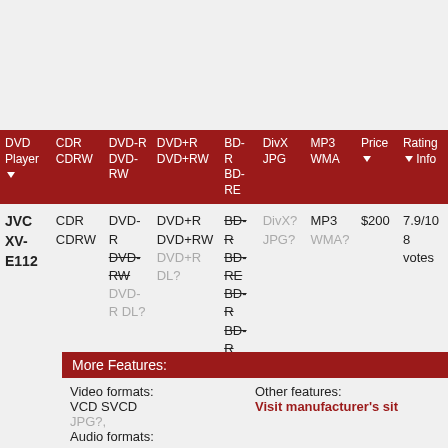| DVD Player ▽ | CDR CDRW | DVD-R DVD-RW | DVD+R DVD+RW | BD-R BD-RE | DivX JPG | MP3 WMA | Price ▽ | Rating ▽ Info |
| --- | --- | --- | --- | --- | --- | --- | --- | --- |
| JVC XV-E112 | CDR CDRW | DVD-R
DVD-RW (strikethrough)
DVD-R DL? (muted) | DVD+R
DVD+RW
DVD+R DL? (muted) | BD-R (strikethrough)
BD-RE (strikethrough)
BD-R (strikethrough)
BD-R DL (strikethrough) | DivX? (muted)
JPG? (muted) | MP3
WMA? (muted) | $200 | 7.9/10
8 votes |
More Features:
Video formats:
VCD SVCD
JPG?,
Audio formats:
Other features:
Visit manufacturer's sit